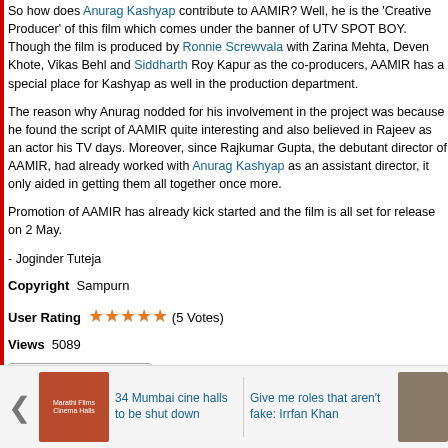So how does Anurag Kashyap contribute to AAMIR? Well, he is the 'Creative Producer' of this film which comes under the banner of UTV SPOT BOY. Though the film is produced by Ronnie Screwvala with Zarina Mehta, Deven Khote, Vikas Behl and Siddharth Roy Kapur as the co-producers, AAMIR has a special place for Kashyap as well in the production department.
The reason why Anurag nodded for his involvement in the project was because he found the script of AAMIR quite interesting and also believed in Rajeev as an actor his TV days. Moreover, since Rajkumar Gupta, the debutant director of AAMIR, had already worked with Anurag Kashyap as an assistant director, it only aided in getting them all together once more.
Promotion of AAMIR has already kick started and the film is all set for release on 2 May.
- Joginder Tuteja
Copyright  Sampurn
User Rating ★★★★★ (5 Votes)
Views  5089
[Figure (screenshot): Share button with social media icons]
Go to
[Figure (photo): Thumbnail image for '34 Mumbai cine halls to be shut down']
34 Mumbai cine halls to be shut down
Give me roles that aren't fake: Irrfan Khan
[Figure (photo): Thumbnail image for 'Give me roles that aren't fake: Irrfan Khan']